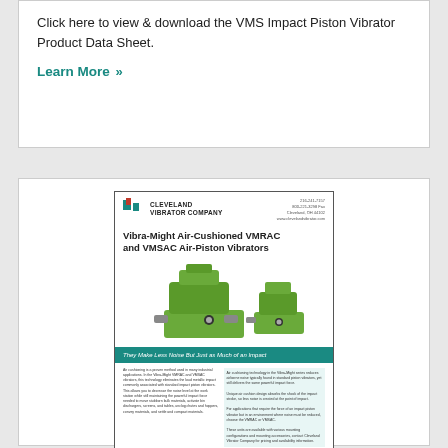Click here to view & download the VMS Impact Piston Vibrator Product Data Sheet.
Learn More »
[Figure (other): Preview thumbnail of Cleveland Vibrator Company product data sheet for Vibra-Might Air-Cushioned VMRAC and VMSAC Air-Piston Vibrators, showing green industrial vibrator units and the tagline 'They Make Less Noise But Just as Much of an Impact']